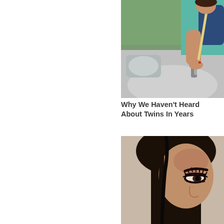[Figure (photo): Photo of a woman in a car, holding a car door handle, wearing a teal top and blue jacket, with seatbelt visible, car side mirror in foreground]
Why We Haven't Heard About Twins In Years
[Figure (photo): Close-up portrait photo of a woman with long dark black hair, dark eyes with heavy lashes and eyeliner, looking slightly downward, neutral/beige background]